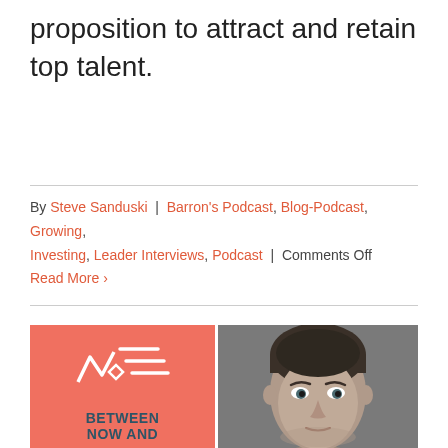proposition to attract and retain top talent.
By Steve Sanduski | Barron's Podcast, Blog-Podcast, Growing, Investing, Leader Interviews, Podcast | Comments Off
Read More >
[Figure (other): Composite image: left half shows a salmon/coral colored podcast logo with white geometric line art (intersecting lines/zigzag pattern) and text 'BETWEEN NOW AND' at bottom in dark teal bold font. Right half shows a grayscale professional headshot of a middle-aged man with dark hair against a gray background.]